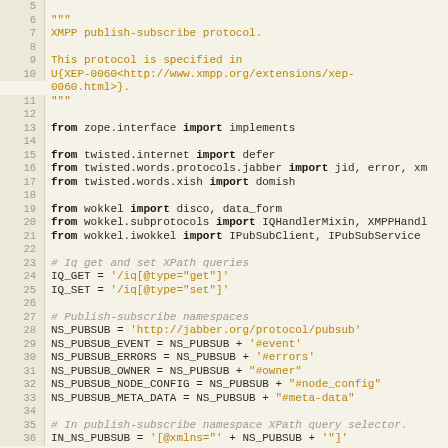[Figure (screenshot): Source code listing of a Python file implementing XMPP publish-subscribe protocol, showing line numbers 5-36 with syntax highlighting.]